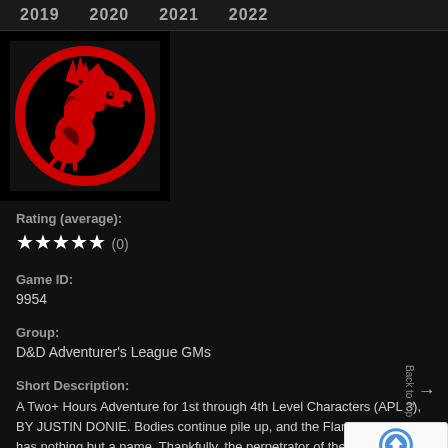2019  2020  2021  2022
[Figure (logo): Red and black dragon logo in a circle on black background]
Rating (average):
★★★★★ (0)
Game ID:
9954
Group:
D&D Adventurer's League GMs
Short Description:
A Two+ Hours Adventure for 1st through 4th Level Characters (APL 3), BY JUSTIN DONIE. Bodies continue pile up, and the Flaming Fist still has nothing but a name. Thankfully, the perpetrator of the murders has slipped up and the Flaming